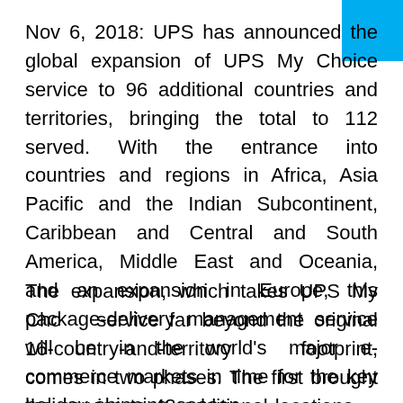Nov 6, 2018: UPS has announced the global expansion of UPS My Choice service to 96 additional countries and territories, bringing the total to 112 served. With the entrance into countries and regions in Africa, Asia Pacific and the Indian Subcontinent, Caribbean and Central and South America, Middle East and Oceania, and an expansion in Europe, this package-delivery management service will be in the world's major e-commerce markets in time for the key holiday shipping season.
The expansion, which takes UPS My Choice service far beyond the original 16-country-and-territory footprint, comes in two phases: The first brought the service to 48 additional locations